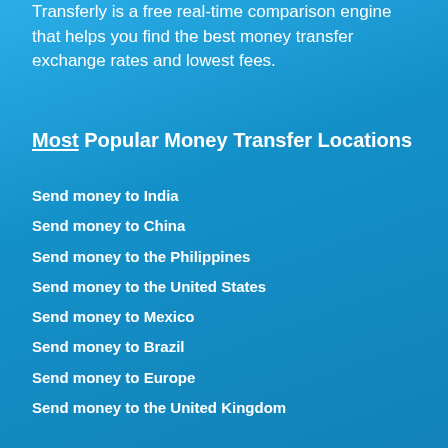Transferly is a free real-time comparison engine that helps you find the best money transfer exchange rates and lowest fees.
Most Popular Money Transfer Locations
Send money to India
Send money to China
Send money to the Philippines
Send money to the United States
Send money to Mexico
Send money to Brazil
Send money to Europe
Send money to the United Kingdom